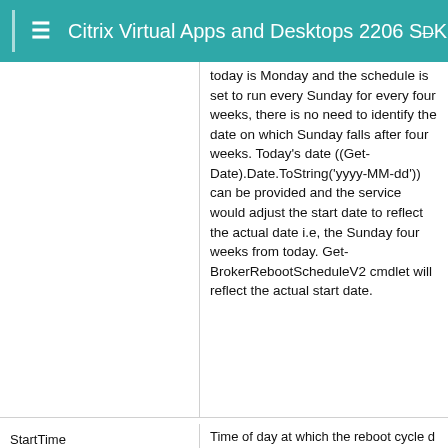Citrix Virtual Apps and Desktops 2206 SDK D
today is Monday and the schedule is set to run every Sunday for every four weeks, there is no need to identify the date on which Sunday falls after four weeks. Today's date ((Get-Date).Date.ToString('yyyy-MM-dd')) can be provided and the service would adjust the start date to reflect the actual date i.e, the Sunday four weeks from today. Get-BrokerRebootScheduleV2 cmdlet will reflect the actual start date.
StartTime
Time of day at which the reboot cycle d